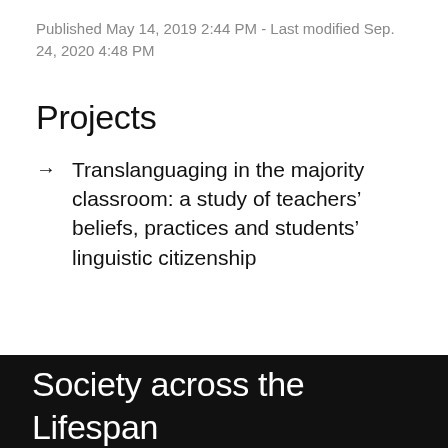Published May 14, 2019 2:44 PM - Last modified Sep. 24, 2020 4:48 PM
Projects
Translanguaging in the majority classroom: a study of teachers' beliefs, practices and students' linguistic citizenship
Center for Multilingualism in Society across the Lifespan